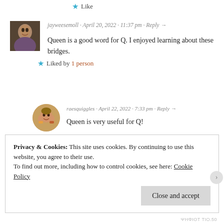★ Like
jayweesemoll · April 20, 2022 · 11:37 pm · Reply →
Queen is a good word for Q. I enjoyed learning about these bridges.
★ Liked by 1 person
raesquiggles · April 22, 2022 · 7:33 pm · Reply →
Queen is very useful for Q!
★ Like
Privacy & Cookies: This site uses cookies. By continuing to use this website, you agree to their use.
To find out more, including how to control cookies, see here: Cookie Policy
Close and accept